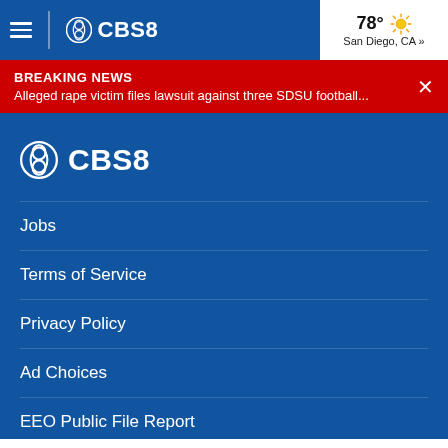CBS8 navigation bar with hamburger menu, CBS8 logo, and weather: 78° San Diego, CA »
BREAKING NEWS
Alleged rape victim files lawsuit against three SDSU football...
[Figure (logo): CBS8 logo with circular CBS eye and bold text 'CBS8']
Jobs
Terms of Service
Privacy Policy
Ad Choices
EEO Public File Report
FCC Online Public Inspection File
Closed Caption Procedures
Do Not Sell My Personal Information